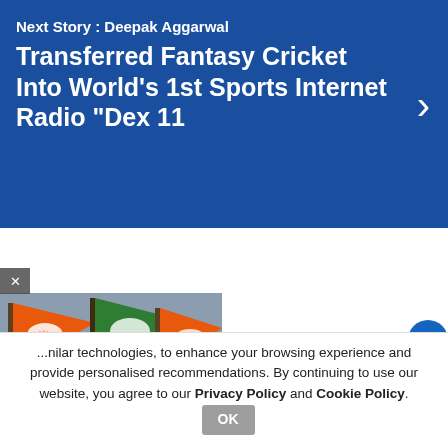Next Story : Deepak Aggarwal Transferred Fantasy Cricket Into World's 1st Sports Internet Radio "Dex 11
[Figure (photo): BJP party flags — orange flags with lotus symbol and green flags with hand symbol, crowd of supporters in background]
...milar technologies, to enhance your browsing experience and provide personalised recommendations. By continuing to use our website, you agree to our Privacy Policy and Cookie Policy.